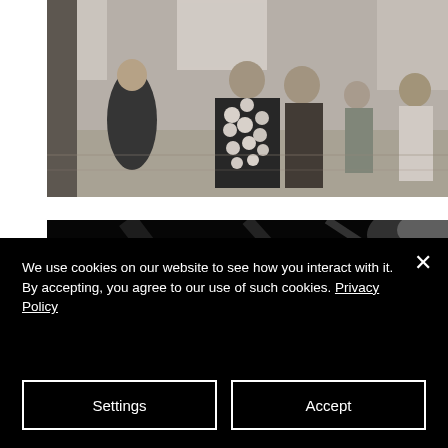[Figure (photo): Black and white photograph of people in an indoor setting. A person in the center wears an elaborate floral or beaded costume/jacket. Several other people stand in the background near windows and walls.]
[Figure (photo): Black and white photograph taken from a low angle, showing a blurred interior scene with light streaks and a partially visible person's head.]
We use cookies on our website to see how you interact with it. By accepting, you agree to our use of such cookies. Privacy Policy
Settings
Accept